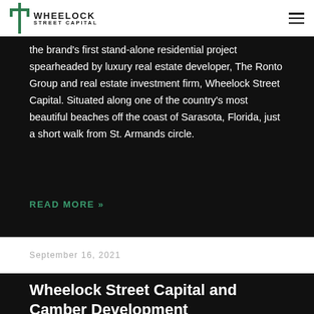WHEELOCK STREET CAPITAL
the brand's first stand-alone residential project spearheaded by luxury real estate developer, The Ronto Group and real estate investment firm, Wheelock Street Capital. Situated along one of the country's most beautiful beaches off the coast of Sarasota, Florida, just a short walk from St. Armands circle.
READ MORE »
September 16, 2021
Wheelock Street Capital and Camber Development